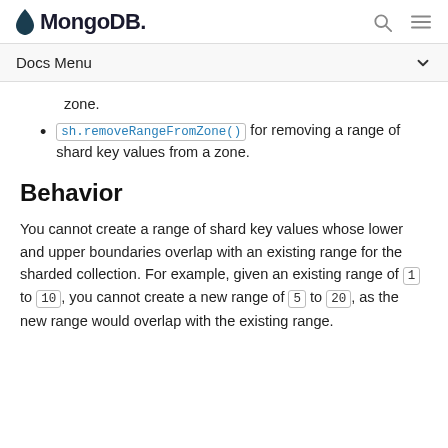MongoDB
Docs Menu
zone.
sh.removeRangeFromZone() for removing a range of shard key values from a zone.
Behavior
You cannot create a range of shard key values whose lower and upper boundaries overlap with an existing range for the sharded collection. For example, given an existing range of 1 to 10, you cannot create a new range of 5 to 20, as the new range would overlap with the existing range.